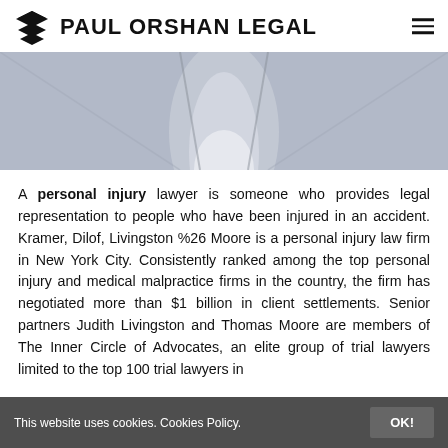PAUL ORSHAN LEGAL
[Figure (photo): Close-up photo of a person in a grey suit jacket, showing the torso/chest area with a white shirt visible.]
A personal injury lawyer is someone who provides legal representation to people who have been injured in an accident. Kramer, Dilof, Livingston %26 Moore is a personal injury law firm in New York City. Consistently ranked among the top personal injury and medical malpractice firms in the country, the firm has negotiated more than $1 billion in client settlements. Senior partners Judith Livingston and Thomas Moore are members of The Inner Circle of Advocates, an elite group of trial lawyers limited to the top 100 trial lawyers in
This website uses cookies. Cookies Policy.